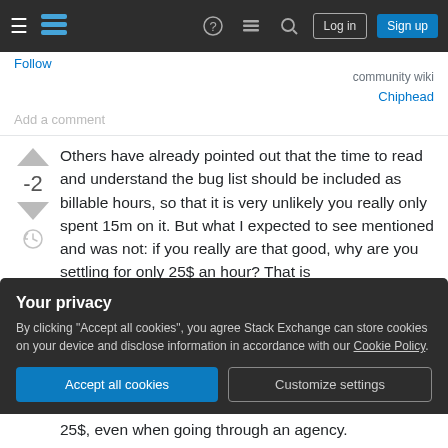Stack Exchange navigation bar with Log in and Sign up buttons
Follow
community wiki
Chiphead
Add a comment
Others have already pointed out that the time to read and understand the bug list should be included as billable hours, so that it is very unlikely you really only spent 15m on it. But what I expected to see mentioned and was not: if you really are that good, why are you settling for only 25$ an hour? That is
Your privacy
By clicking "Accept all cookies", you agree Stack Exchange can store cookies on your device and disclose information in accordance with our Cookie Policy.
Accept all cookies  Customize settings
25$, even when going through an agency.